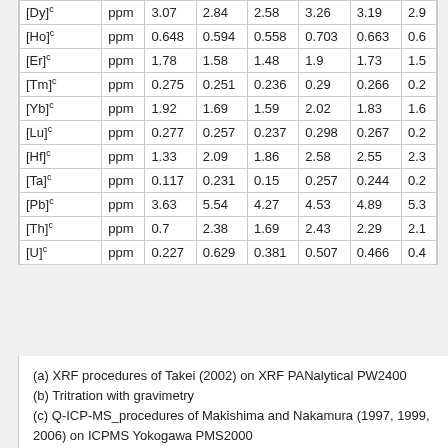| Element | Unit | Col1 | Col2 | Col3 | Col4 | Col5 | Col6 |
| --- | --- | --- | --- | --- | --- | --- | --- |
| [Dy]c | ppm | 3.07 | 2.84 | 2.58 | 3.26 | 3.19 | 2.9 |
| [Ho]c | ppm | 0.648 | 0.594 | 0.558 | 0.703 | 0.663 | 0.6 |
| [Er]c | ppm | 1.78 | 1.58 | 1.48 | 1.9 | 1.73 | 1.5 |
| [Tm]c | ppm | 0.275 | 0.251 | 0.236 | 0.29 | 0.266 | 0.2 |
| [Yb]c | ppm | 1.92 | 1.69 | 1.59 | 2.02 | 1.83 | 1.6 |
| [Lu]c | ppm | 0.277 | 0.257 | 0.237 | 0.298 | 0.267 | 0.2 |
| [Hf]c | ppm | 1.33 | 2.09 | 1.86 | 2.58 | 2.55 | 2.3 |
| [Ta]c | ppm | 0.117 | 0.231 | 0.15 | 0.257 | 0.244 | 0.2 |
| [Pb]c | ppm | 3.63 | 5.54 | 4.27 | 4.53 | 4.89 | 5.3 |
| [Th]c | ppm | 0.7 | 2.38 | 1.69 | 2.43 | 2.29 | 2.1 |
| [U]c | ppm | 0.227 | 0.629 | 0.381 | 0.507 | 0.466 | 0.4 |
(a) XRF procedures of Takei (2002) on XRF PANalytical PW2400
(b) Tritration with gravimetry
(c) Q-ICP-MS_procedures of Makishima and Nakamura (1997, 1999, 2006) on ICPMS Yokogawa PMS2000